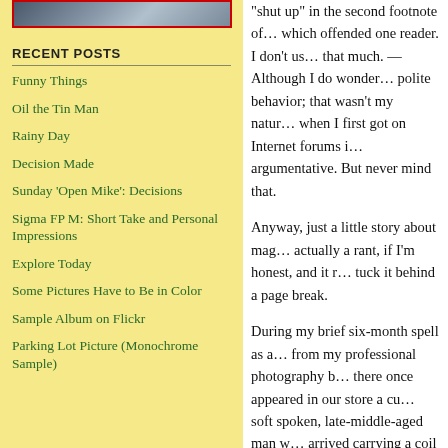[Figure (photo): Partial photo visible at top left, showing a portion of an image with red border]
RECENT POSTS
Funny Things
Oil the Tin Man
Rainy Day
Decision Made
Sunday 'Open Mike': Decisions
Sigma FP M: Short Take and Personal Impressions
Explore Today
Some Pictures Have to Be in Color
Sample Album on Flickr
Parking Lot Picture (Monochrome Sample)
"shut up" in the second footnote of… which offended one reader. I don't u… that much. —Although I do wonder… polite behavior; that wasn't my natur… when I first got on Internet forums i… argumentative. But never mind that.
Anyway, just a little story about mag… actually a rant, if I'm honest, and it r… tuck it behind a page break.
During my brief six-month spell as a… from my professional photography b… there once appeared in our store a cu… soft spoken, late-middle-aged man w… arrived carrying a coil of lamp cord.… wire that is nearly universally used t… he owned Vandersteen 2C speakers a… Vandersteen Model 3's, a larger spea… But, he said with a smile, I would no… he didn't want me to talk — he was g…